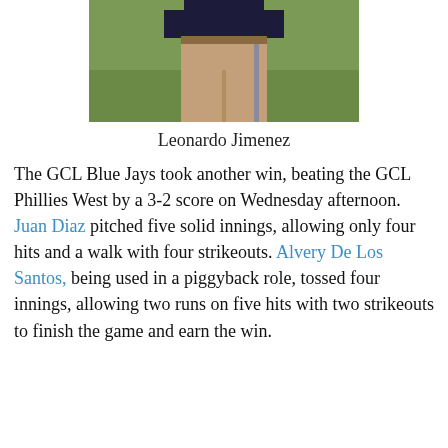[Figure (photo): A baseball player from the waist down, wearing tan pants and a dark jersey, standing on a grass field.]
Leonardo Jimenez
The GCL Blue Jays took another win, beating the GCL Phillies West by a 3-2 score on Wednesday afternoon. Juan Diaz pitched five solid innings, allowing only four hits and a walk with four strikeouts. Alvery De Los Santos, being used in a piggyback role, tossed four innings, allowing two runs on five hits with two strikeouts to finish the game and earn the win.